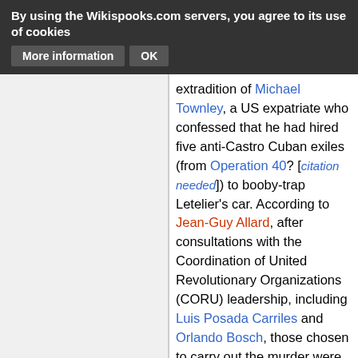By using the Wikispooks.com servers, you agree to its use of cookies [More information] [OK]
extradition of Michael Townley, a US expatriate who confessed that he had hired five anti-Castro Cuban exiles (from Operation 40? [citation needed]) to booby-trap Letelier's car. According to Jean-Guy Allard, after consultations with the Coordination of United Revolutionary Organizations (CORU) leadership, including Luis Posada Carriles and Orlando Bosch, those chosen to carry out the murder were Cuban-Americans José Dionisio Suárez, Virgilio Paz Romero, Alvin Ross Díaz, and brothers Guillermo and Ignacio Novo Sampoll. Suárez